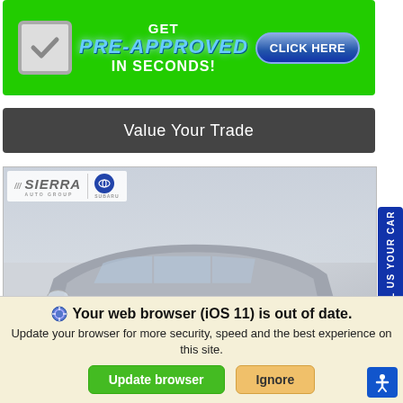[Figure (infographic): Green banner advertisement: GET PRE-APPROVED IN SECONDS! with a checkmark icon and CLICK HERE button]
[Figure (infographic): Dark gray bar button: Value Your Trade]
[Figure (photo): Sierra Auto Group Subaru dealership photo showing a gray SUV in a parking lot with dealership signage]
SELL US YOUR CAR
Your web browser (iOS 11) is out of date. Update your browser for more security, speed and the best experience on this site.
Update browser
Ignore